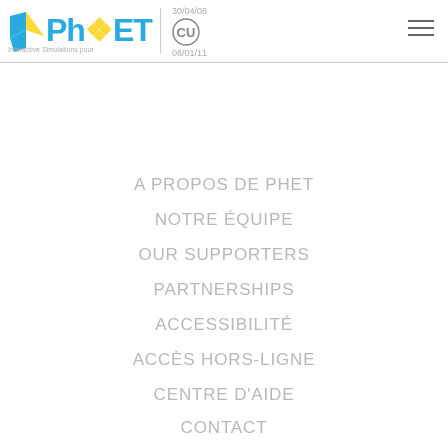PhET Interactive Simulations | CU Boulder | 30/04/08 | 08/01/11
A PROPOS DE PHET
NOTRE ÉQUIPE
OUR SUPPORTERS
PARTNERSHIPS
ACCESSIBILITÉ
ACCÈS HORS-LIGNE
CENTRE D'AIDE
CONTACT
CODE SOURCE